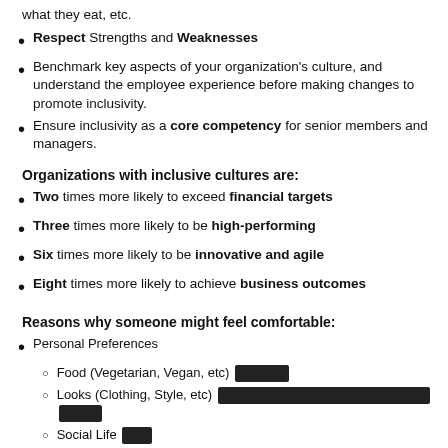what they eat, etc.
Respect Strengths and Weaknesses
Benchmark key aspects of your organization's culture, and understand the employee experience before making changes to promote inclusivity.
Ensure inclusivity as a core competency for senior members and managers.
Organizations with inclusive cultures are:
Two times more likely to exceed financial targets
Three times more likely to be high-performing
Six times more likely to be innovative and agile
Eight times more likely to achieve business outcomes
Reasons why someone might feel comfortable:
Personal Preferences
Food (Vegetarian, Vegan, etc) [redacted]
Looks (Clothing, Style, etc) [redacted]
Social Life [redacted]
Religious and Cultural beliefs
Religious Practices \ Events (Xmas, Eid, Holi, Shiwati, etc)